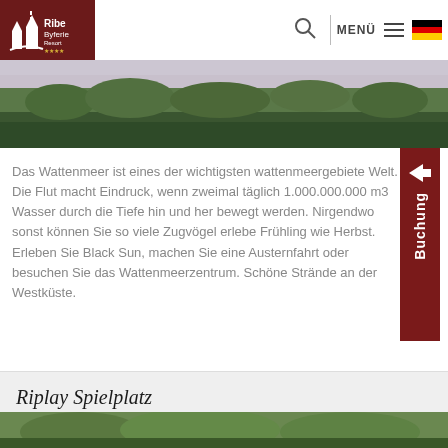Ribe Byferie Resort – navigation header with logo, search, MENÜ, and German flag
[Figure (photo): Panoramic landscape photo showing green treeline and shrubs under a grey-purple sky]
Das Wattenmeer ist eines der wichtigsten wattenmeergebiete Welt. Die Flut macht Eindruck, wenn zweimal täglich 1.000.000.000 m3 Wasser durch die Tiefe hin und her bewegt werden. Nirgendwo sonst können Sie so viele Zugvögel erleben Frühling wie Herbst. Erleben Sie Black Sun, machen Sie eine Austernfahrt oder besuchen Sie das Wattenmeerzentrum. Schöne Strände an der Westküste.
Riplay Spielplatz
[Figure (photo): Bottom strip of an outdoor photo showing greenery]